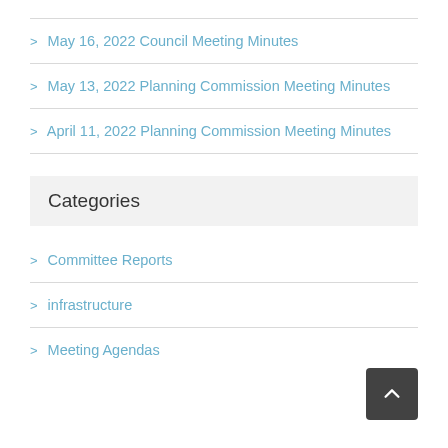May 16, 2022 Council Meeting Minutes
May 13, 2022 Planning Commission Meeting Minutes
April 11, 2022 Planning Commission Meeting Minutes
Categories
Committee Reports
infrastructure
Meeting Agendas